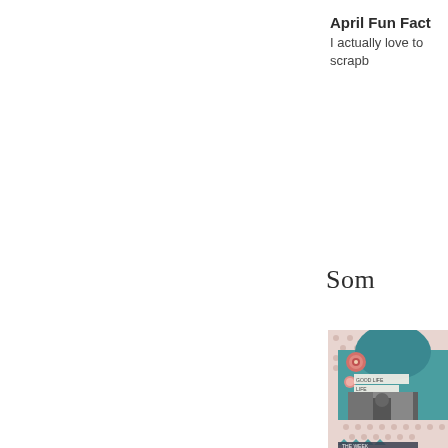April Fun Fact
I actually love to scrapb
Som
[Figure (photo): A scrapbook layout page featuring a teal/turquoise background with polka dot patterned paper, a pink flower embellishment, a photo of a person in a room, decorative banners and pennants at the bottom, and text labels including 'LIFE' and 'THE WEEK'.]